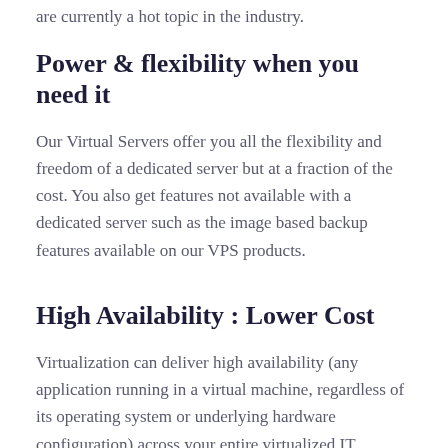are currently a hot topic in the industry.
Power & flexibility when you need it
Our Virtual Servers offer you all the flexibility and freedom of a dedicated server but at a fraction of the cost. You also get features not available with a dedicated server such as the image based backup features available on our VPS products.
High Availability : Lower Cost
Virtualization can deliver high availability (any application running in a virtual machine, regardless of its operating system or underlying hardware configuration) across your entire virtualized IT